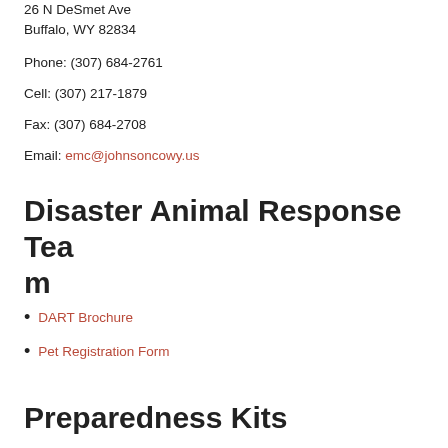26 N DeSmet Ave
Buffalo, WY 82834
Phone: (307) 684-2761
Cell: (307) 217-1879
Fax: (307) 684-2708
Email: emc@johnsoncowy.us
Disaster Animal Response Team
DART Brochure
Pet Registration Form
Preparedness Kits